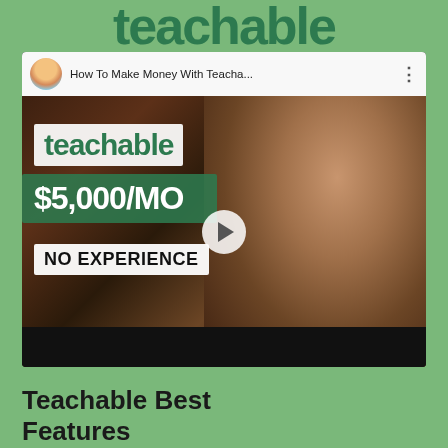[Figure (logo): Teachable logo text in dark green on green background]
[Figure (screenshot): YouTube video thumbnail showing 'How To Make Money With Teacha...' with a man in black t-shirt, text overlays: 'teachable', '$5,000/MO', 'NO EXPERIENCE', with play button]
Teachable Best Features